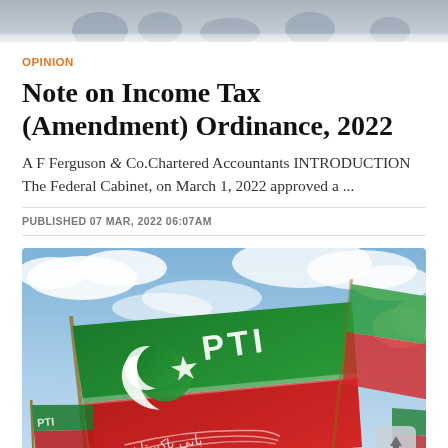[Figure (photo): Top cropped photograph strip showing people, partially visible at the top of the page]
OPINION
Note on Income Tax (Amendment) Ordinance, 2022
A F Ferguson & Co.Chartered Accountants INTRODUCTION The Federal Cabinet, on March 1, 2022 approved a ...
PUBLISHED 07 MAR, 2022 06:07AM
[Figure (photo): Photograph of PTI (Pakistan Tehreek-e-Insaf) flags waving against a cloudy sky. The green and red PTI flag with crescent and star logo is prominently visible with the letters PTI in white. Other flags are visible in the background.]